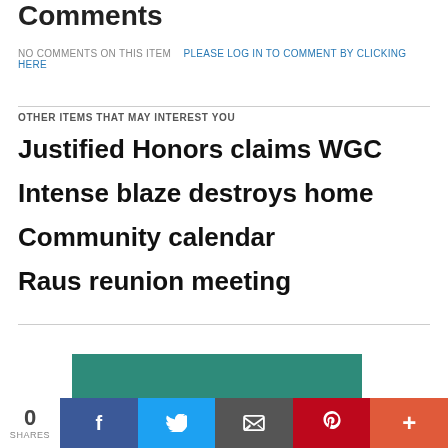Comments
NO COMMENTS ON THIS ITEM   PLEASE LOG IN TO COMMENT BY CLICKING HERE
OTHER ITEMS THAT MAY INTEREST YOU
Justified Honors claims WGC
Intense blaze destroys home
Community calendar
Raus reunion meeting
[Figure (other): Teal/green promotional banner area]
0 SHARES